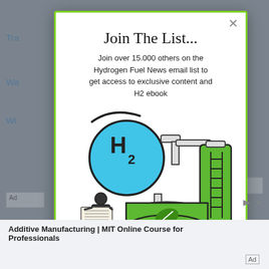Join The List...
Join over 15.000 others on the Hydrogen Fuel News email list to get access to exclusive content and H2 ebook
[Figure (illustration): Illustration of hydrogen fuel equipment: H2 molecule icon (blue circle), green hydrogen tank with leaf symbol, green cylindrical storage tank with ladder, and a small person reading a newspaper, all in cartoon style]
LEARN MORE
Additive Manufacturing | MIT Online Course for Professionals
Ad